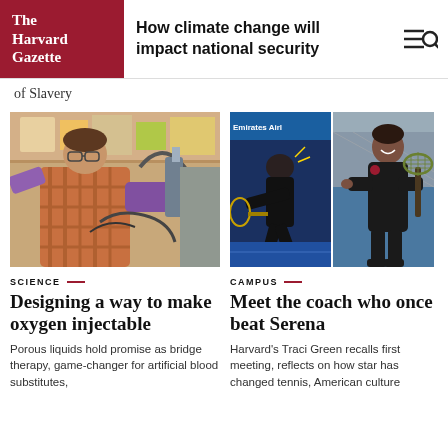The Harvard Gazette | How climate change will impact national security
of Slavery
[Figure (photo): Researcher in lab wearing purple gloves working with laboratory equipment]
SCIENCE
Designing a way to make oxygen injectable
Porous liquids hold promise as bridge therapy, game-changer for artificial blood substitutes,
[Figure (photo): Two photos side by side: Serena Williams playing tennis at Emirates Airlines tournament, and Harvard coach Traci Green holding a tennis racket]
CAMPUS
Meet the coach who once beat Serena
Harvard's Traci Green recalls first meeting, reflects on how star has changed tennis, American culture